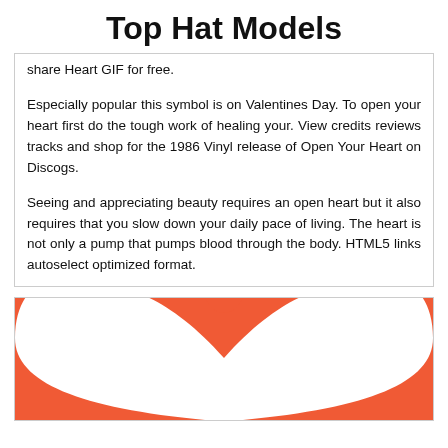Top Hat Models
share Heart GIF for free.
Especially popular this symbol is on Valentines Day. To open your heart first do the tough work of healing your. View credits reviews tracks and shop for the 1986 Vinyl release of Open Your Heart on Discogs.
Seeing and appreciating beauty requires an open heart but it also requires that you slow down your daily pace of living. The heart is not only a pump that pumps blood through the body. HTML5 links autoselect optimized format.
[Figure (illustration): Red/orange heart illustration, partially visible, cropped at bottom of page]